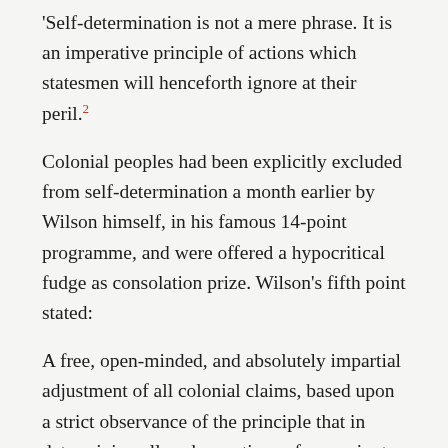'Self-determination is not a mere phrase. It is an imperative principle of actions which statesmen will henceforth ignore at their peril.2
Colonial peoples had been explicitly excluded from self-determination a month earlier by Wilson himself, in his famous 14-point programme, and were offered a hypocritical fudge as consolation prize. Wilson's fifth point stated:
A free, open-minded, and absolutely impartial adjustment of all colonial claims, based upon a strict observance of the principle that in determining all such questions of sovereignty the interests of the populations concerned must have equal weight with the equitable claims of the colonising governments concerned.